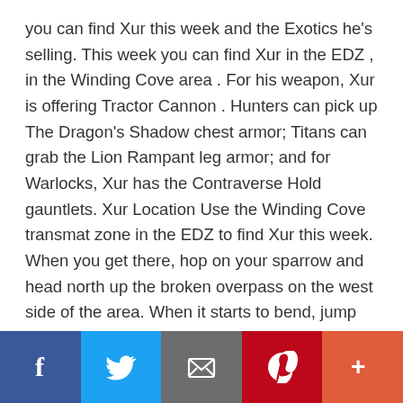you can find Xur this week and the Exotics he's selling. This week you can find Xur in the EDZ , in the Winding Cove area . For his weapon, Xur is offering Tractor Cannon . Hunters can pick up The Dragon's Shadow chest armor; Titans can grab the Lion Rampant leg armor; and for Warlocks, Xur has the Contraverse Hold gauntlets. Xur Location Use the Winding Cove transmat zone in the EDZ to find Xur this week. When you get there, hop on your sparrow and head north up the broken overpass on the west side of the area. When it starts to bend, jump off and look for a cave set in the ...
[Read more...]
[Figure (infographic): Social sharing bar with five buttons: Facebook (dark blue), Twitter (light blue), Email (gray), Pinterest (red), and More (orange-red)]